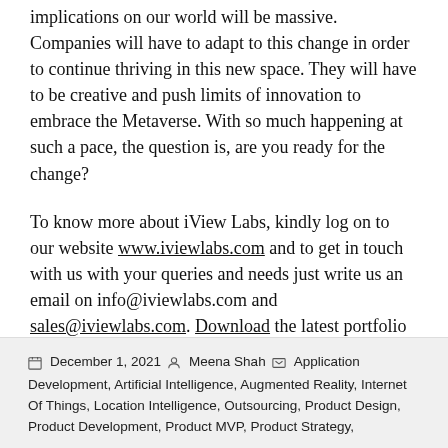implications on our world will be massive. Companies will have to adapt to this change in order to continue thriving in this new space. They will have to be creative and push limits of innovation to embrace the Metaverse. With so much happening at such a pace, the question is, are you ready for the change?
To know more about iView Labs, kindly log on to our website www.iviewlabs.com and to get in touch with us with your queries and needs just write us an email on info@iviewlabs.com and sales@iviewlabs.com. Download the latest portfolio to see our work.
December 1, 2021   Meena Shah   Application Development, Artificial Intelligence, Augmented Reality, Internet Of Things, Location Intelligence, Outsourcing, Product Design, Product Development, Product MVP, Product Strategy,